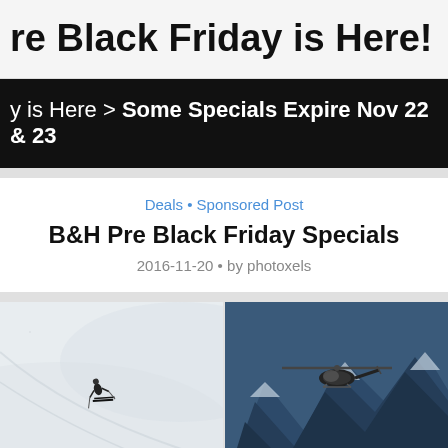re Black Friday is Here!
y is Here > Some Specials Expire Nov 22 & 23
Deals • Sponsored Post
B&H Pre Black Friday Specials
2016-11-20 • by photoxels
[Figure (photo): Two photos side by side: left shows a skier on a white snowy slope, right shows a helicopter flying over snowy mountains]
Sponsored Post
SPONSORED POST: Cheating Death from Photographs